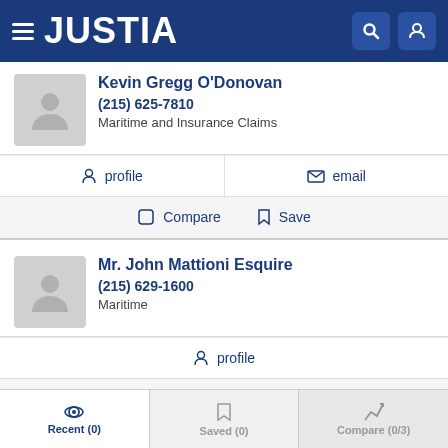JUSTIA
Kevin Gregg O'Donovan
(215) 625-7810
Maritime and Insurance Claims
profile   email
Compare   Save
Mr. John Mattioni Esquire
(215) 629-1600
Maritime
profile
Compare   Save
Recent (0)   Saved (0)   Compare (0/3)